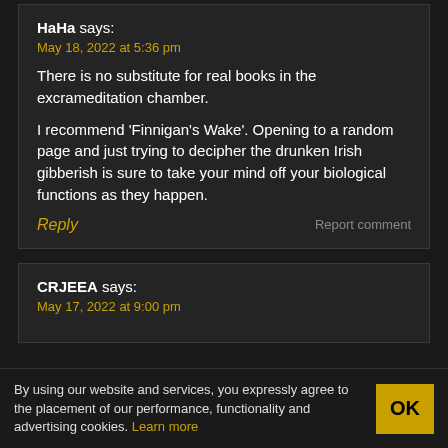HaHa says:
May 18, 2022 at 5:36 pm
There is no substitute for real books in the excrameditation chamber.
I recommend ‘Finnigan’s Wake’. Opening to a random page and just trying to decipher the drunken Irish gibberish is sure to take your mind off your biological functions as they happen.
Reply
Report comment
CRJEEA says:
May 17, 2022 at 9:00 pm
By using our website and services, you expressly agree to the placement of our performance, functionality and advertising cookies. Learn more